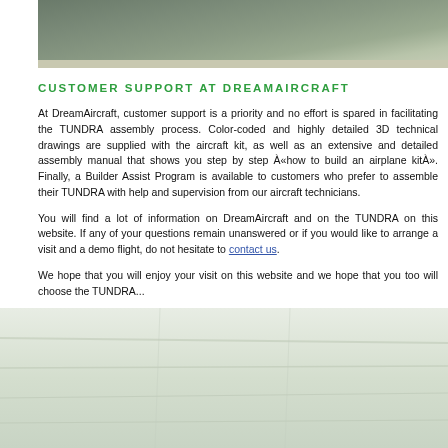[Figure (photo): Top portion of photo showing aircraft surface/wing in grey-green tones]
CUSTOMER SUPPORT AT DREAMAIRCRAFT
At DreamAircraft, customer support is a priority and no effort is spared in facilitating the TUNDRA assembly process. Color-coded and highly detailed 3D technical drawings are supplied with the aircraft kit, as well as an extensive and detailed assembly manual that shows you step by step «how to build an airplane kit». Finally, a Builder Assist Program is available to customers who prefer to assemble their TUNDRA with help and supervision from our aircraft technicians.
You will find a lot of information on DreamAircraft and on the TUNDRA on this website. If any of your questions remain unanswered or if you would like to arrange a visit and a demo flight, do not hesitate to contact us.
We hope that you will enjoy your visit on this website and we hope that you too will choose the TUNDRA...
[Figure (photo): Bottom portion showing aircraft (TUNDRA) in light grey/white tones from below or side angle]